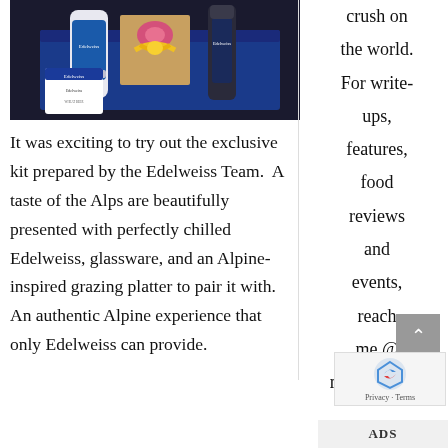[Figure (photo): A blue gift box containing Edelweiss beer cans, a bottle, chocolates, and yellow ribbon, with an Edelweiss branded card in front]
It was exciting to try out the exclusive kit prepared by the Edelweiss Team.  A taste of the Alps are beautifully presented with perfectly chilled Edelweiss, glassware, and an Alpine-inspired grazing platter to pair it with. An authentic Alpine experience that only Edelweiss can provide.
crush on the world. For write-ups, features, food reviews and events, reach me @ meghan@for